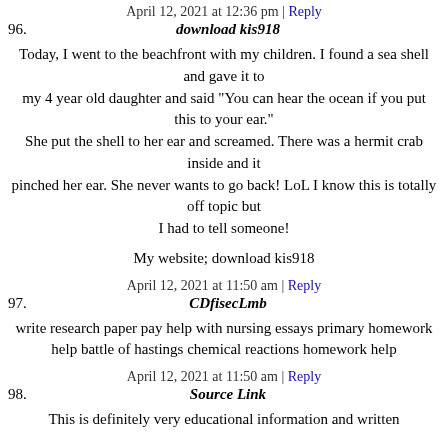April 12, 2021 at 12:36 pm | Reply
96. download kis918
Today, I went to the beachfront with my children. I found a sea shell and gave it to my 4 year old daughter and said "You can hear the ocean if you put this to your ear." She put the shell to her ear and screamed. There was a hermit crab inside and it pinched her ear. She never wants to go back! LoL I know this is totally off topic but I had to tell someone!
My website; download kis918
April 12, 2021 at 11:50 am | Reply
97. CDfisecLmb
write research paper pay help with nursing essays primary homework help battle of hastings chemical reactions homework help
April 12, 2021 at 11:50 am | Reply
98. Source Link
This is definitely very educational information and written